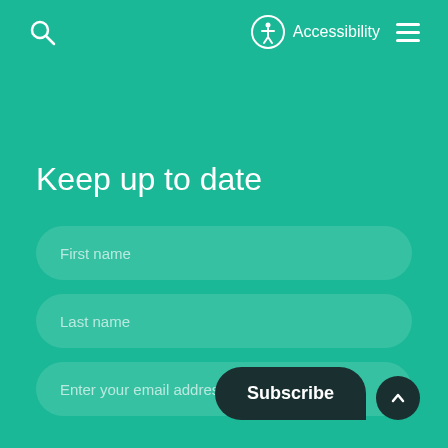Search | Accessibility | Menu
Keep up to date
First name
Last name
Enter your email address
Subscribe